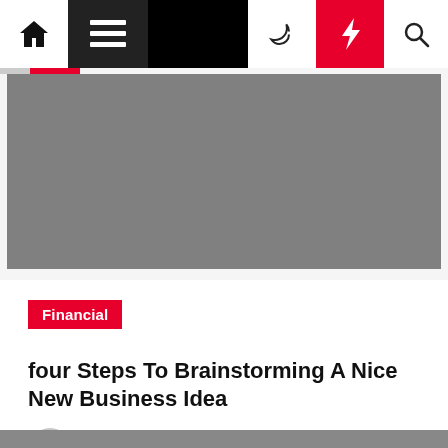Navigation bar with home, menu, moon, bolt, and search icons
[Figure (photo): Gray placeholder hero image for article]
Financial
four Steps To Brainstorming A Nice New Business Idea
Noble Horvath  4 years ago